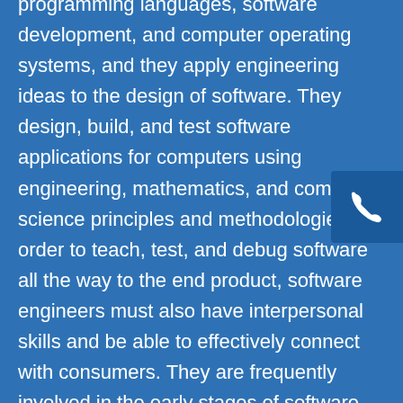programming languages, software development, and computer operating systems, and they apply engineering ideas to the design of software. They design, build, and test software applications for computers using engineering, mathematics, and computer science principles and methodologies. In order to teach, test, and debug software all the way to the end product, software engineers must also have interpersonal skills and be able to effectively connect with consumers. They are frequently involved in the early stages of software planning all the way through testing, development, training, and support.
[Figure (illustration): A dark blue rounded square button with a white telephone/phone handset icon]